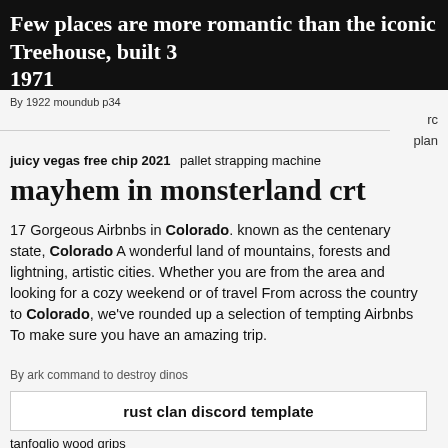[Figure (other): Black bar at top with partial article title text in white on dark background, partially cut off]
By 1922 moundub p34
rc
plan
juicy vegas free chip 2021   pallet strapping machine
mayhem in monsterland crt
17 Gorgeous Airbnbs in Colorado. known as the centenary state, Colorado A wonderful land of mountains, forests and lightning, artistic cities. Whether you are from the area and looking for a cozy weekend or of travel From across the country to Colorado, we've rounded up a selection of tempting Airbnbs To make sure you have an amazing trip.
By ark command to destroy dinos
rust clan discord template
tanfoglio wood grips
greatest hits of the 60s free download